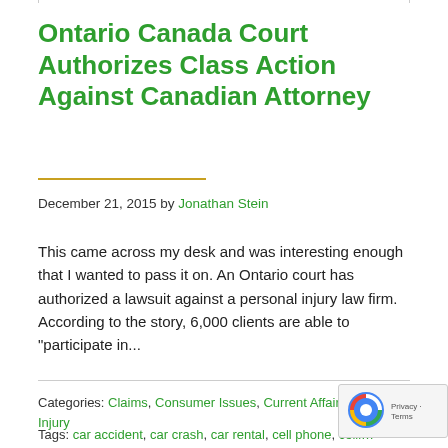Ontario Canada Court Authorizes Class Action Against Canadian Attorney
December 21, 2015 by Jonathan Stein
This came across my desk and was interesting enough that I wanted to pass it on. An Ontario court has authorized a lawsuit against a personal injury law firm. According to the story, 6,000 clients are able to "participate in...
Categories: Claims, Consumer Issues, Current Affairs, Personal Injury
Tags: car accident, car crash, car rental, cell phone, colli… contingency fee, drive and text, extra insurance, fair mar…